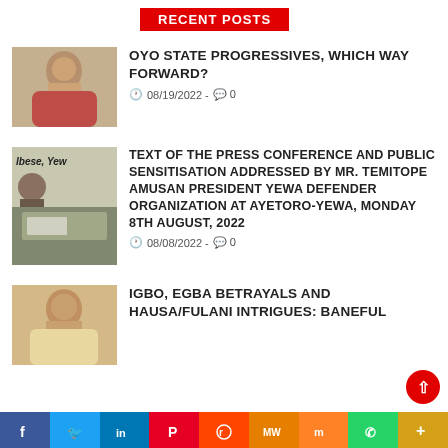Recent Posts
OYO STATE PROGRESSIVES, WHICH WAY FORWARD? 08/19/2022 - 0
TEXT OF THE PRESS CONFERENCE AND PUBLIC SENSITISATION ADDRESSED BY MR. TEMITOPE AMUSAN PRESIDENT YEWA DEFENDER ORGANIZATION AT AYETORO-YEWA, MONDAY 8TH AUGUST, 2022 08/08/2022 - 0
IGBO, EGBA BETRAYALS AND HAUSA/FULANI INTRIGUES: BANEFUL
f  Twitter  in  P  Reddit  MW  m  WhatsApp  +